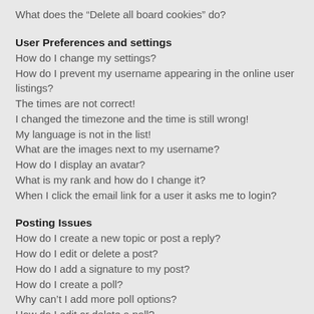What does the “Delete all board cookies” do?
User Preferences and settings
How do I change my settings?
How do I prevent my username appearing in the online user listings?
The times are not correct!
I changed the timezone and the time is still wrong!
My language is not in the list!
What are the images next to my username?
How do I display an avatar?
What is my rank and how do I change it?
When I click the email link for a user it asks me to login?
Posting Issues
How do I create a new topic or post a reply?
How do I edit or delete a post?
How do I add a signature to my post?
How do I create a poll?
Why can’t I add more poll options?
How do I edit or delete a poll?
Why can’t I access a forum?
Why can’t I add attachments?
Why did I receive a warning?
How can I report posts to a moderator?
What is the “Save” button for in topic posting?